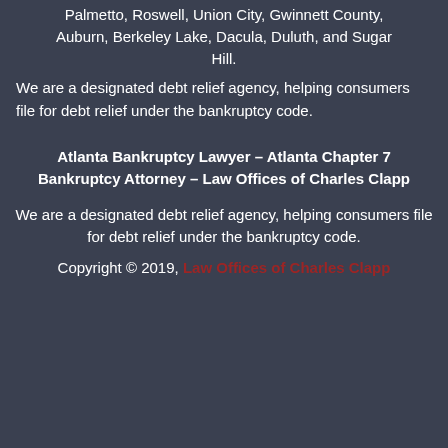Palmetto, Roswell, Union City, Gwinnett County, Auburn, Berkeley Lake, Dacula, Duluth, and Sugar Hill.
We are a designated debt relief agency, helping consumers file for debt relief under the bankruptcy code.
Atlanta Bankruptcy Lawyer – Atlanta Chapter 7 Bankruptcy Attorney – Law Offices of Charles Clapp
We are a designated debt relief agency, helping consumers file for debt relief under the bankruptcy code.
Copyright © 2019, Law Offices of Charles Clapp